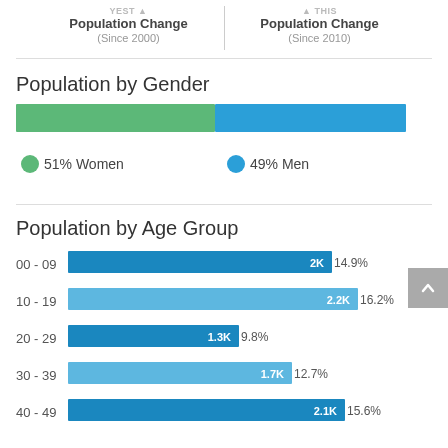Population Change (Since 2000) | Population Change (Since 2010)
Population by Gender
[Figure (bar-chart): Population by Gender]
Population by Age Group
[Figure (bar-chart): Population by Age Group]